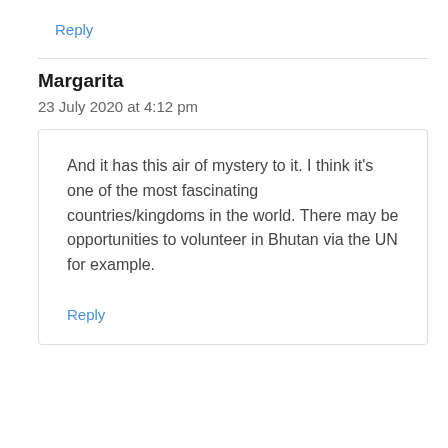Reply
Margarita
23 July 2020 at 4:12 pm
And it has this air of mystery to it. I think it’s one of the most fascinating countries/kingdoms in the world. There may be opportunities to volunteer in Bhutan via the UN for example.
Reply